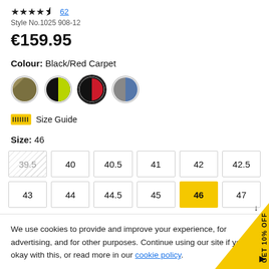★★★★½ 62
Style No.1025 908-12
€159.95
Colour: Black/Red Carpet
[Figure (illustration): Four color swatches: olive/tan, black/yellow-green, black/red (selected, with bold border), and grey/blue]
Size Guide
Size: 46
| 39.5 | 40 | 40.5 | 41 | 42 | 42.5 |
| 43 | 44 | 44.5 | 45 | 46 | 47 |
We use cookies to provide and improve your experience, for advertising, and for other purposes. Continue using our site if you're okay with this, or read more in our cookie policy.